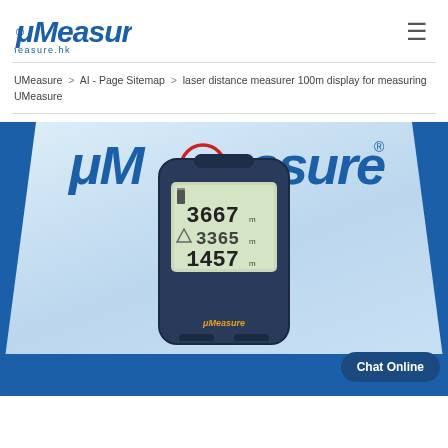[Figure (logo): μMeasure brand logo with italic script lettering and measure.hk domain underneath, blue color]
UMeasure > AI - Page Sitemap > laser distance measurer 100m display for measuring UMeasure
[Figure (photo): Product banner showing the μMeasure brand logo with UL certification mark, measure.hk domain, a laser distance measurer device showing readings 3667, 3365, 1457 on LCD display, Chat Online button, blue diagonal background shapes]